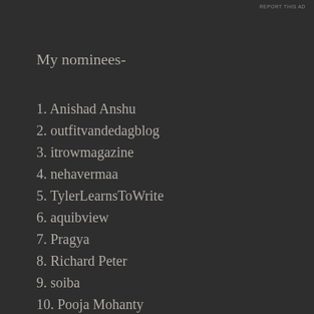REPORT THIS AD
My nominees-
1. Anishad Anshu
2. outfitvandedagblog
3. itrowmagazine
4. nehavermaa
5. TylerLearnsToWrite
6. aquibview
7. Pragya
8. Richard Peter
9. soiba
10. Pooja Mohanty